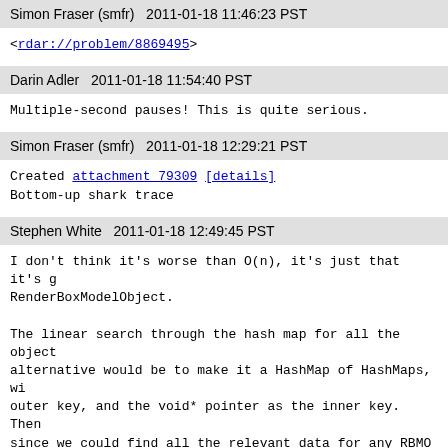Simon Fraser (smfr)   2011-01-18 11:46:23 PST
<rdar://problem/8869495>
Darin Adler   2011-01-18 11:54:40 PST
Multiple-second pauses! This is quite serious.
Simon Fraser (smfr)   2011-01-18 12:29:21 PST
Created attachment 79309 [details]
Bottom-up shark trace
Stephen White   2011-01-18 12:49:45 PST
I don't think it's worse than O(n), it's just that it's g
RenderBoxModelObject.

The linear search through the hash map for all the object
alternative would be to make it a HashMap of HashMaps, wi
outer key, and the void* pointer as the inner key.  Then
since we could find all the relevant data for any RBMO in
loop since we can just release all the data at once.  The
first time around, but I can't remember what it is now.

Another alternative would be to put a flag bit on each Re
the ImageQualityController, and only call objectDestroyer